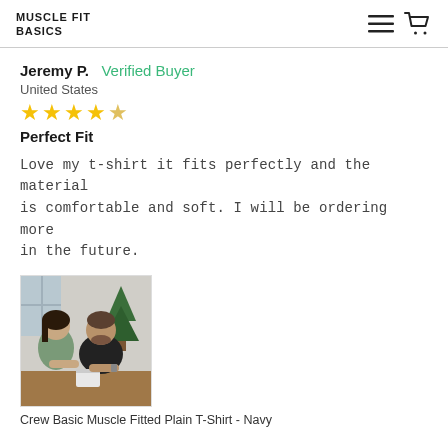MUSCLE FIT BASICS
Jeremy P.  Verified Buyer
United States
[Figure (other): Four gold star rating (out of 5)]
Perfect Fit
Love my t-shirt it fits perfectly and the material is comfortable and soft. I will be ordering more in the future.
[Figure (photo): A couple sitting together, the man wearing a dark t-shirt, looking at something in his hands, with a Christmas tree in the background.]
Crew Basic Muscle Fitted Plain T-Shirt - Navy